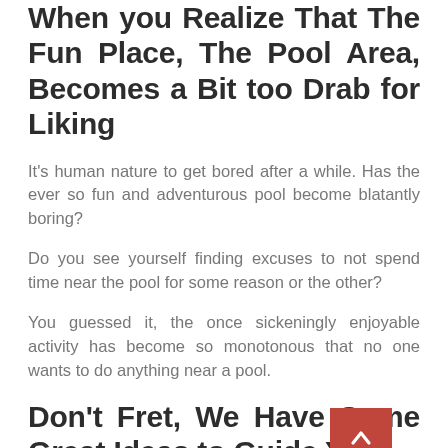When you Realize That The Fun Place, The Pool Area, Becomes a Bit too Drab for Liking
It's human nature to get bored after a while. Has the ever so fun and adventurous pool become blatantly boring?
Do you see yourself finding excuses to not spend time near the pool for some reason or the other?
You guessed it, the once sickeningly enjoyable activity has become so monotonous that no one wants to do anything near a pool.
Don't Fret, We Have Some Great Ideas to Guide You
Change the Ambience